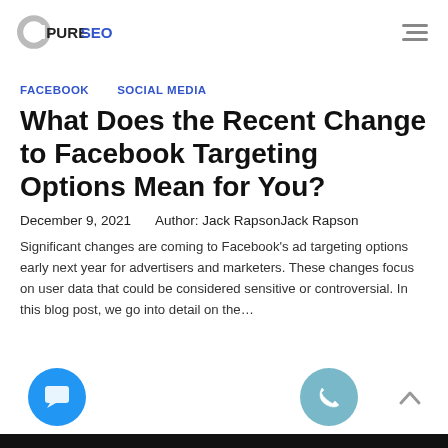PureSEO
FACEBOOK   SOCIAL MEDIA
What Does the Recent Change to Facebook Targeting Options Mean for You?
December 9, 2021   Author: Jack RapsonJack Rapson
Significant changes are coming to Facebook's ad targeting options early next year for advertisers and marketers. These changes focus on user data that could be considered sensitive or controversial. In this blog post, we go into detail on the…